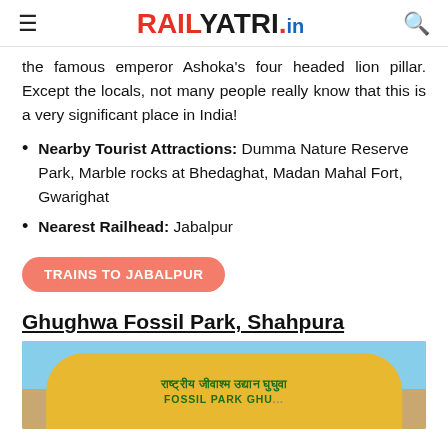RAILYATRI.in
the famous emperor Ashoka's four headed lion pillar. Except the locals, not many people really know that this is a very significant place in India!
Nearby Tourist Attractions: Dumma Nature Reserve Park, Marble rocks at Bhedaghat, Madan Mahal Fort, Gwarighat
Nearest Railhead: Jabalpur
TRAINS TO JABALPUR
Ghughwa Fossil Park, Shahpura
[Figure (photo): Entrance arch of Ghughwa Fossil Park (राष्ट्रीय जीवाश्म उद्यान घुघुवा) - FOSSIL PARK GHU... sign visible on a yellow/orange arch against blue sky]